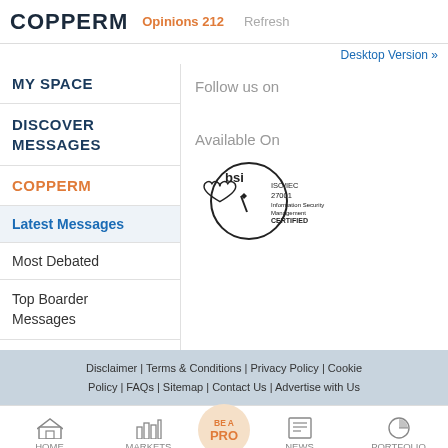COPPERM  Opinions 212  Refresh
Desktop Version »
MY SPACE
DISCOVER MESSAGES
COPPERM
Latest Messages
Most Debated
Top Boarder Messages
Follow us on
Available On
[Figure (logo): BSI ISO/IEC 27001 Information Security Management CERTIFIED badge with heart logo]
Disclaimer | Terms & Conditions | Privacy Policy | Cookie Policy | FAQs | Sitemap | Contact Us | Advertise with Us
HOME  MARKETS  BE A PRO  NEWS  PORTFOLIO